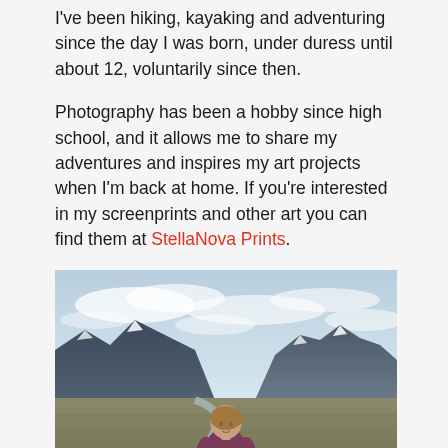I've been hiking, kayaking and adventuring since the day I was born, under duress until about 12, voluntarily since then.
Photography has been a hobby since high school, and it allows me to share my adventures and inspires my art projects when I'm back at home. If you're interested in my screenprints and other art you can find them at StellaNova Prints.
[Figure (photo): Woman in a purple/maroon fleece jacket sitting in a wide open valley with mountains and glaciers in the background under a partly cloudy sky.]